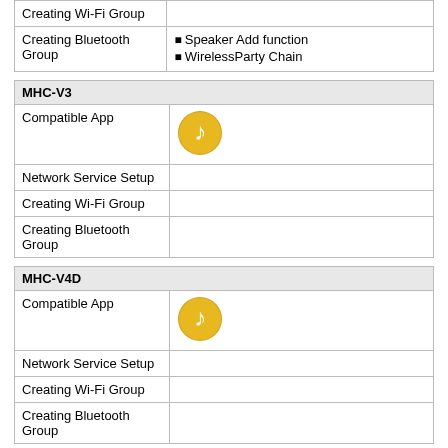|  |  |
| --- | --- |
| Creating Wi-Fi Group |  |
| Creating Bluetooth Group | •Speaker Add function
•WirelessParty Chain |
| MHC-V3 |  |
| --- | --- |
| Compatible App | [music note icon] |
| Network Service Setup |  |
| Creating Wi-Fi Group |  |
| Creating Bluetooth Group |  |
| MHC-V4D |  |
| --- | --- |
| Compatible App | [music note icon] |
| Network Service Setup |  |
| Creating Wi-Fi Group |  |
| Creating Bluetooth Group |  |